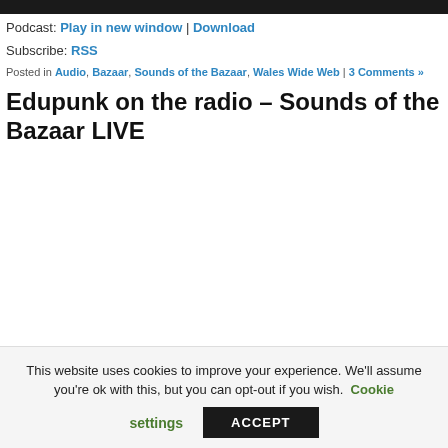Podcast: Play in new window | Download
Subscribe: RSS
Posted in Audio, Bazaar, Sounds of the Bazaar, Wales Wide Web | 3 Comments »
Edupunk on the radio – Sounds of the Bazaar LIVE
This website uses cookies to improve your experience. We'll assume you're ok with this, but you can opt-out if you wish. Cookie settings ACCEPT